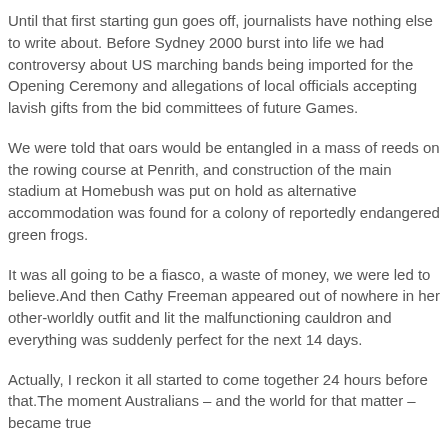Until that first starting gun goes off, journalists have nothing else to write about. Before Sydney 2000 burst into life we had controversy about US marching bands being imported for the Opening Ceremony and allegations of local officials accepting lavish gifts from the bid committees of future Games.
We were told that oars would be entangled in a mass of reeds on the rowing course at Penrith, and construction of the main stadium at Homebush was put on hold as alternative accommodation was found for a colony of reportedly endangered green frogs.
It was all going to be a fiasco, a waste of money, we were led to believe.And then Cathy Freeman appeared out of nowhere in her other-worldly outfit and lit the malfunctioning cauldron and everything was suddenly perfect for the next 14 days.
Actually, I reckon it all started to come together 24 hours before that.The moment Australians – and the world for that matter – became true